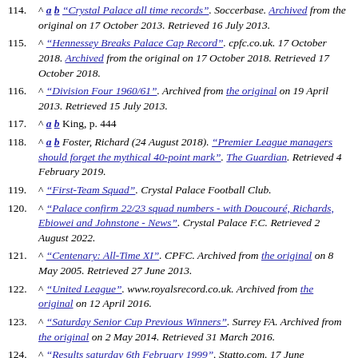114. ^ a b "Crystal Palace all time records". Soccerbase. Archived from the original on 17 October 2013. Retrieved 16 July 2013.
115. ^ "Hennessey Breaks Palace Cap Record". cpfc.co.uk. 17 October 2018. Archived from the original on 17 October 2018. Retrieved 17 October 2018.
116. ^ "Division Four 1960/61". Archived from the original on 19 April 2013. Retrieved 15 July 2013.
117. ^ a b King, p. 444
118. ^ a b Foster, Richard (24 August 2018). "Premier League managers should forget the mythical 40-point mark". The Guardian. Retrieved 4 February 2019.
119. ^ "First-Team Squad". Crystal Palace Football Club.
120. ^ "Palace confirm 22/23 squad numbers - with Doucouré, Richards, Ebiowei and Johnstone - News". Crystal Palace F.C. Retrieved 2 August 2022.
121. ^ "Centenary: All-Time XI". CPFC. Archived from the original on 8 May 2005. Retrieved 27 June 2013.
122. ^ "United League". www.royalsrecord.co.uk. Archived from the original on 12 April 2016.
123. ^ "Saturday Senior Cup Previous Winners". Surrey FA. Archived from the original on 2 May 2014. Retrieved 31 March 2016.
124. ^ "Results saturday 6th February 1999". Statto.com. 17 June